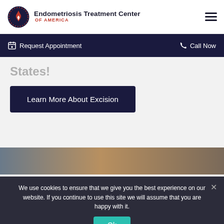[Figure (logo): Endometriosis Treatment Center of America logo with circular icon and text]
Request Appointment   Call Now
States!
Learn More About Excision
[Figure (photo): Partial background photo with gradient brown/grey tones]
We use cookies to ensure that we give you the best experience on our website. If you continue to use this site we will assume that you are happy with it.
Ok